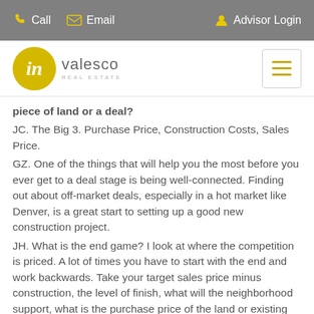Call  Email  Advisor Login
[Figure (logo): Invalesco Real Estate logo with yellow circle containing stylized 'in', company name 'invalesco' and 'REAL ESTATE' subtitle, plus hamburger menu button]
Q. What do you first do when you are evaluating a piece of land or a deal?
JC. The Big 3. Purchase Price, Construction Costs, Sales Price.
GZ. One of the things that will help you the most before you ever get to a deal stage is being well-connected. Finding out about off-market deals, especially in a hot market like Denver, is a great start to setting up a good new construction project.
JH. What is the end game? I look at where the competition is priced. A lot of times you have to start with the end and work backwards. Take your target sales price minus construction, the level of finish, what will the neighborhood support, what is the purchase price of the land or existing home? When you see that profit margin